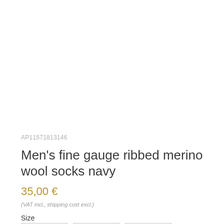AP11571813146
Men's fine gauge ribbed merino wool socks navy
35,00 €
(VAT incl., shipping cost excl.)
Size